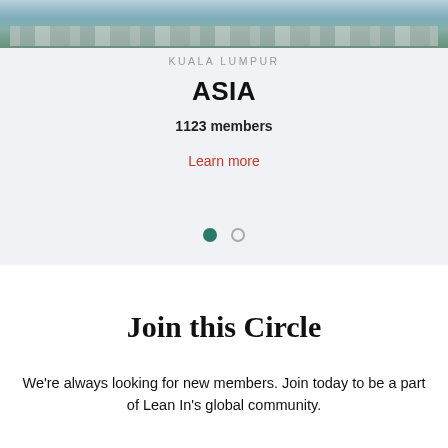[Figure (photo): Aerial/skyline view of Kuala Lumpur city buildings]
KUALA LUMPUR
ASIA
1123 members
Learn more
[Figure (other): Carousel pagination dots: one filled dark teal circle and one empty circle outline]
Join this Circle
We're always looking for new members. Join today to be a part of Lean In's global community.